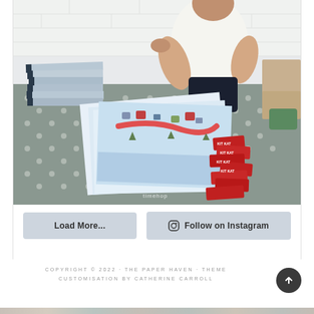[Figure (photo): A person in a white t-shirt sitting at a grey polka-dot tablecloth table, sorting or packing stacks of printed booklets/cards. On the table are piles of booklets on the left, colorful illustrated papers/cards in the center, and a pile of red Kit Kat chocolate bars on the right. A watermark reading 'timehop' is visible at the bottom of the image.]
Load More...
Follow on Instagram
COPYRIGHT © 2022 · THE PAPER HAVEN · THEME CUSTOMISATION BY CATHERINE CARROLL